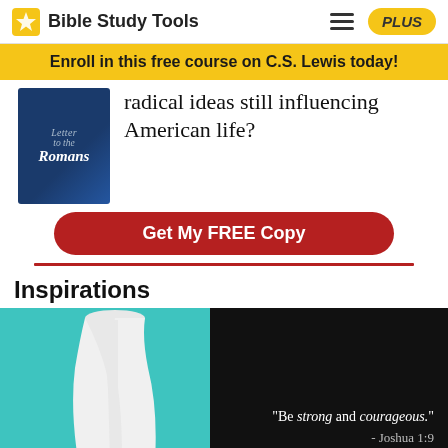Bible Study Tools
Enroll in this free course on C.S. Lewis today!
[Figure (illustration): Ad banner showing a book 'Letter to the Romans' with text 'radical ideas still influencing American life?' and a red button 'Get My FREE Copy']
Inspirations
[Figure (photo): Split image: left side teal background with white draped fabric/garment; right side dark background with quote text 'Be strong and courageous.' - Joshua 1:9]